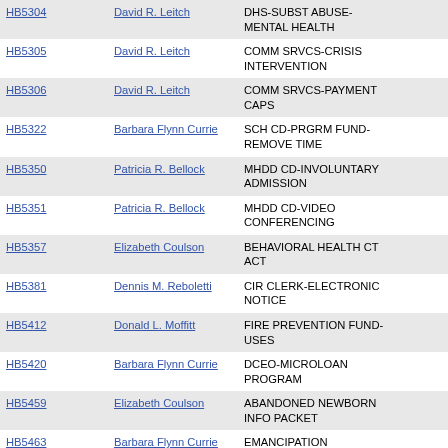| Bill | Sponsor | Description |
| --- | --- | --- |
| HB5304 | David R. Leitch | DHS-SUBST ABUSE-MENTAL HEALTH |
| HB5305 | David R. Leitch | COMM SRVCS-CRISIS INTERVENTION |
| HB5306 | David R. Leitch | COMM SRVCS-PAYMENT CAPS |
| HB5322 | Barbara Flynn Currie | SCH CD-PRGRM FUND-REMOVE TIME |
| HB5350 | Patricia R. Bellock | MHDD CD-INVOLUNTARY ADMISSION |
| HB5351 | Patricia R. Bellock | MHDD CD-VIDEO CONFERENCING |
| HB5357 | Elizabeth Coulson | BEHAVIORAL HEALTH CT ACT |
| HB5381 | Dennis M. Reboletti | CIR CLERK-ELECTRONIC NOTICE |
| HB5412 | Donald L. Moffitt | FIRE PREVENTION FUND-USES |
| HB5420 | Barbara Flynn Currie | DCEO-MICROLOAN PROGRAM |
| HB5459 | Elizabeth Coulson | ABANDONED NEWBORN INFO PACKET |
| HB5463 | Barbara Flynn Currie | EMANCIPATION PROCLAMATION WEEK |
| HB5481 | Renée Kosel | SCH CD-GIFTED EDUC FUNDING |
| HB5484 | Renée Kosel | CIV PRO-TESTIMONY RELIABILITY |
| HB5517 | Rosemary Mulligan | PHARMACY-GENERIC PRESCRIPTIONS |